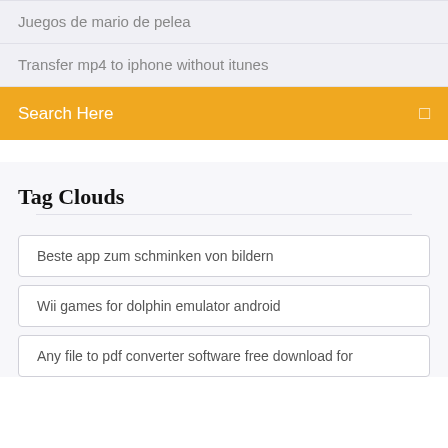Juegos de mario de pelea
Transfer mp4 to iphone without itunes
Search Here
Tag Clouds
Beste app zum schminken von bildern
Wii games for dolphin emulator android
Any file to pdf converter software free download for